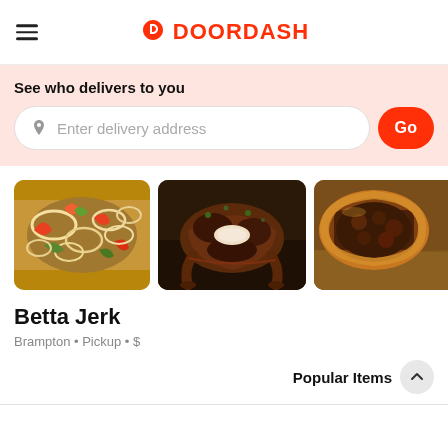[Figure (logo): DoorDash logo with stylized D icon in red and DOORDASH text in red]
See who delivers to you
Enter delivery address
[Figure (photo): Three food photos in a horizontal row: stir-fried vegetables with onions and peppers, roasted jerk chicken, and a close-up of a pastry/pie]
Betta Jerk
Brampton • Pickup • $
Popular Items